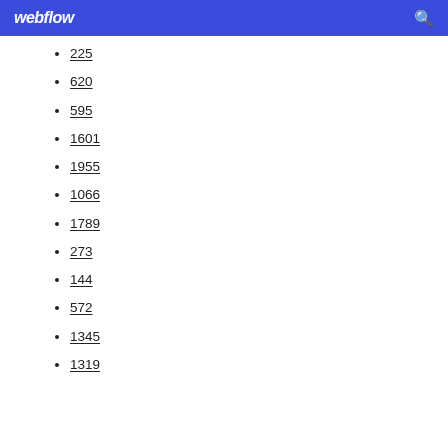webflow
225
620
595
1601
1955
1066
1789
273
144
572
1345
1319